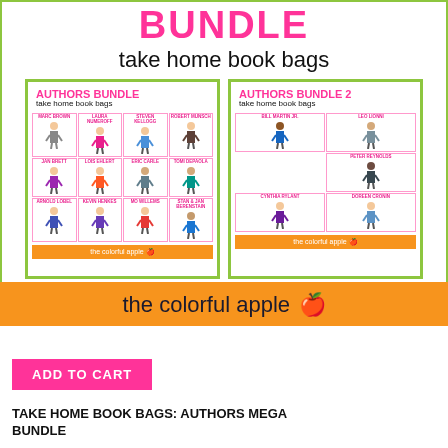BUNDLE take home book bags
[Figure (illustration): Two product cover sheets for 'Authors Bundle Take Home Book Bags' and 'Authors Bundle 2 Take Home Book Bags', each showing cartoon author figures in a grid layout, with orange footer bars reading 'the colorful apple']
the colorful apple 🍎
ADD TO CART
TAKE HOME BOOK BAGS: AUTHORS MEGA BUNDLE